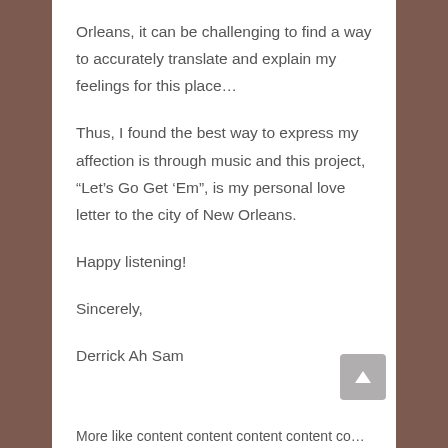Orleans, it can be challenging to find a way to accurately translate and explain my feelings for this place…
Thus, I found the best way to express my affection is through music and this project, “Let’s Go Get ‘Em”, is my personal love letter to the city of New Orleans.
Happy listening!
Sincerely,
Derrick Ah Sam